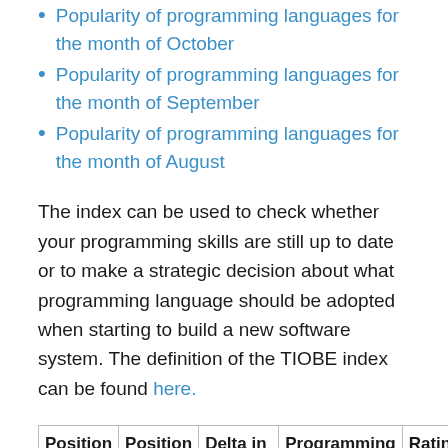Popularity of programming languages for the month of October
Popularity of programming languages for the month of September
Popularity of programming languages for the month of August
The index can be used to check whether your programming skills are still up to date or to make a strategic decision about what programming language should be adopted when starting to build a new software system. The definition of the TIOBE index can be found here.
| Position Aug | Position Aug | Delta in Position | Programming Language | Ratings Aug |
| --- | --- | --- | --- | --- |